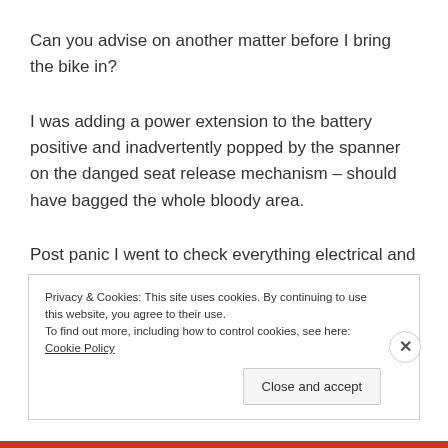Can you advise on another matter before I bring the bike in?
I was adding a power extension to the battery positive and inadvertently popped by the spanner on the danged seat release mechanism – should have bagged the whole bloody area.
Post panic I went to check everything electrical and now find that I have no spark!
Privacy & Cookies: This site uses cookies. By continuing to use this website, you agree to their use.
To find out more, including how to control cookies, see here: Cookie Policy
Close and accept